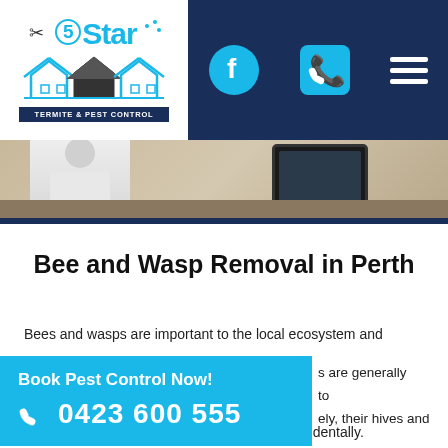[Figure (logo): 5 Star Termite & Pest Control logo with house silhouette graphic]
[Figure (screenshot): Navigation bar with Facebook icon, phone icon, and hamburger menu on dark navy background]
[Figure (photo): Hero image showing person in white uniform working at desk with tablet]
Bee and Wasp Removal in Perth
Bees and wasps are important to the local ecosystem and
[Figure (infographic): Blue CTA box with 'Book Pest Control Now!' and phone number 0423 600 555]
s are generally to ely, their hives and
and around properties, are easy to disturb accidentally.